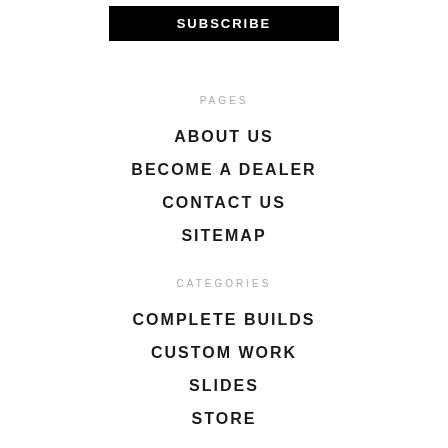SUBSCRIBE
PAGES
ABOUT US
BECOME A DEALER
CONTACT US
SITEMAP
CATEGORIES
COMPLETE BUILDS
CUSTOM WORK
SLIDES
STORE